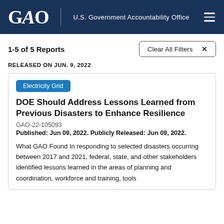GAO U.S. Government Accountability Office
1-5 of 5 Reports
Clear All Filters ×
RELEASED ON JUN. 9, 2022
Electricity Grid
DOE Should Address Lessons Learned from Previous Disasters to Enhance Resilience
GAO-22-105093
Published: Jun 09, 2022. Publicly Released: Jun 09, 2022.
What GAO Found In responding to selected disasters occurring between 2017 and 2021, federal, state, and other stakeholders identified lessons learned in the areas of planning and coordination, workforce and training, tools